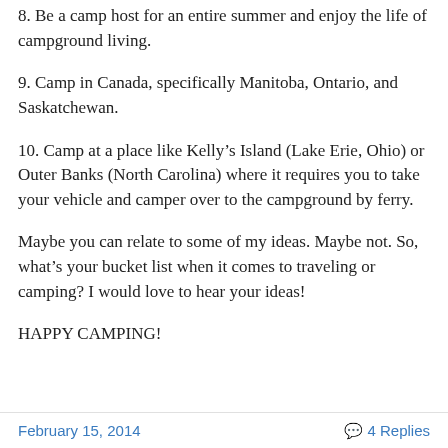8. Be a camp host for an entire summer and enjoy the life of campground living.
9. Camp in Canada, specifically Manitoba, Ontario, and Saskatchewan.
10. Camp at a place like Kelly’s Island (Lake Erie, Ohio) or Outer Banks (North Carolina) where it requires you to take your vehicle and camper over to the campground by ferry.
Maybe you can relate to some of my ideas. Maybe not. So, what’s your bucket list when it comes to traveling or camping? I would love to hear your ideas!
HAPPY CAMPING!
February 15, 2014   4 Replies